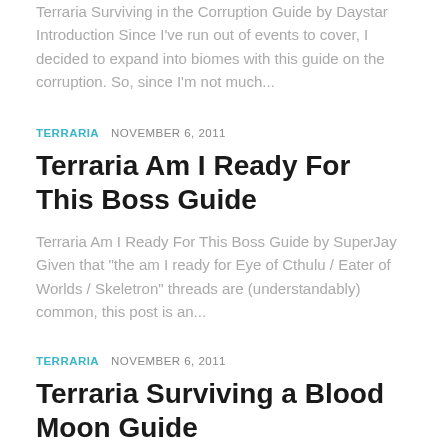Terraria Surviving in the Corruption Guide by Daystar Introduction Since I've run out of events to cover, I decided to expand into biomes with this guide on the corruption. So, since I'm not much...
TERRARIA   NOVEMBER 6, 2011
Terraria Am I Ready For This Boss Guide
Terraria Am I Ready For This Boss Guide by SuperJay Given that "the am I ready for Eye of Cthulu / Eater of Worlds / Skeletron" threads are (understandably) common, this post is an...
TERRARIA   NOVEMBER 6, 2011
Terraria Surviving a Blood Moon Guide
Terraria Surviving a Blood Moon Guide by Daystar Introduction Hello, and welcome, to my first guide. in this section I shall define